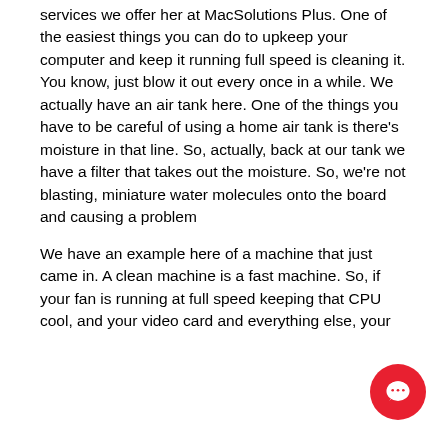services we offer her at MacSolutions Plus. One of the easiest things you can do to upkeep your computer and keep it running full speed is cleaning it. You know, just blow it out every once in a while. We actually have an air tank here. One of the things you have to be careful of using a home air tank is there's moisture in that line. So, actually, back at our tank we have a filter that takes out the moisture. So, we're not blasting, miniature water molecules onto the board and causing a problem
We have an example here of a machine that just came in. A clean machine is a fast machine. So, if your fan is running at full speed keeping that CPU cool, and your video card and everything else, your